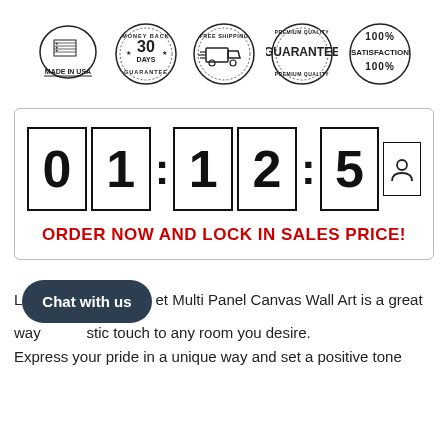[Figure (infographic): Five trust badges in a row: Made in USA (flag badge), Money Back 30 Days Guarantee (circular stamp), Free Shipping (truck in circle), Premium Quality Guarantee (circular seal), 100% Satisfaction 100% (circular badge)]
[Figure (infographic): Countdown timer showing 01:12:5 with digit boxes and a person/lock icon box. Text below reads ORDER NOW AND LOCK IN SALES PRICE!]
L[Chat with us]et Multi Panel Canvas Wall Art is a great way [         ]stic touch to any room you desire. Express your pride in a unique way and set a positive tone